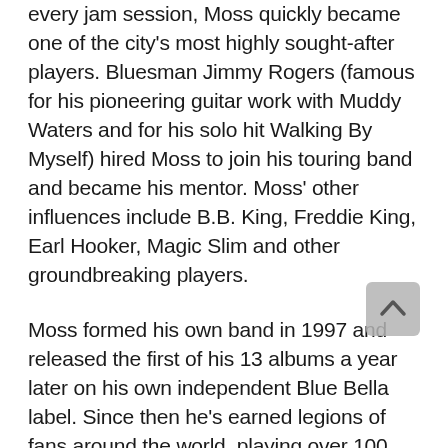every jam session, Moss quickly became one of the city's most highly sought-after players. Bluesman Jimmy Rogers (famous for his pioneering guitar work with Muddy Waters and for his solo hit Walking By Myself) hired Moss to join his touring band and became his mentor. Moss' other influences include B.B. King, Freddie King, Earl Hooker, Magic Slim and other groundbreaking players.
Moss formed his own band in 1997 and released the first of his 13 albums a year later on his own independent Blue Bella label. Since then he's earned legions of fans around the world, playing over 100 shows a year. Moss has shared stages with Buddy Guy, Kenny Wayne Shepherd, Gary Clark, Jr., David Hidalgo and many others, and is an in-demand guest, always welcome to sit in with his musician friends around the world.
As a teen, Gruenling heard the Alligator